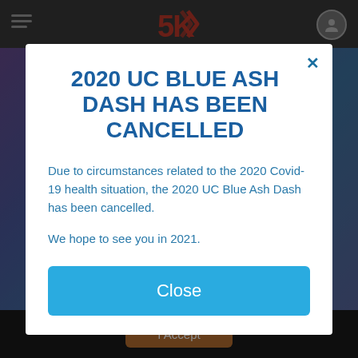[Figure (screenshot): Website background with dark top navigation bar showing hamburger menu, 5K logo, and user icon. Purple/blue photo background of people running. Dark bottom bar with 'I Accept' button.]
2020 UC BLUE ASH DASH HAS BEEN CANCELLED
Due to circumstances related to the 2020 Covid-19 health situation, the 2020 UC Blue Ash Dash has been cancelled.
We hope to see you in 2021.
Close